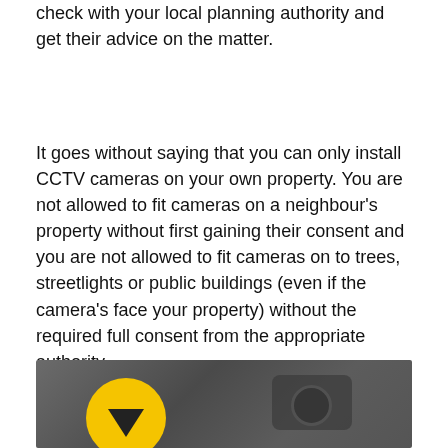check with your local planning authority and get their advice on the matter.
It goes without saying that you can only install CCTV cameras on your own property. You are not allowed to fit cameras on a neighbour's property without first gaining their consent and you are not allowed to fit cameras on to trees, streetlights or public buildings (even if the camera's face your property) without the required full consent from the appropriate authority.
Read more Questions & Answers
Posted by Jonathan Ratcliffe, Tuesday 29th November 2016
[Figure (photo): Dark grey background image showing CCTV cameras, with a yellow circle containing a downward arrow in the lower left]